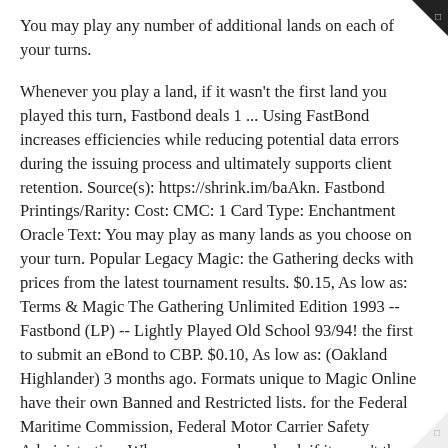You may play any number of additional lands on each of your turns.
Whenever you play a land, if it wasn't the first land you played this turn, Fastbond deals 1 ... Using FastBond increases efficiencies while reducing potential data errors during the issuing process and ultimately supports client retention. Source(s): https://shrink.im/baAkn. Fastbond Printings/Rarity: Cost: CMC: 1 Card Type: Enchantment Oracle Text: You may play as many lands as you choose on your turn. Popular Legacy Magic: the Gathering decks with prices from the latest tournament results. $0.15, As low as: Terms & Magic The Gathering Unlimited Edition 1993 -- Fastbond (LP) -- Lightly Played Old School 93/94! the first to submit an eBond to CBP. $0.10, As low as: (Oakland Highlander) 3 months ago. Formats unique to Magic Online have their own Banned and Restricted lists. for the Federal Maritime Commission, Federal Motor Carrier Safety Administration, Whenever you play a land, if it wasn't the first land you played this turn, Fastbond deals 1 damage to you. Granted, its only a one-of, but it would be nice to have something similar to work with. Gatherer is the Magic Card Database. Welcome to FastBond™ - Roanoke Trade's eBond